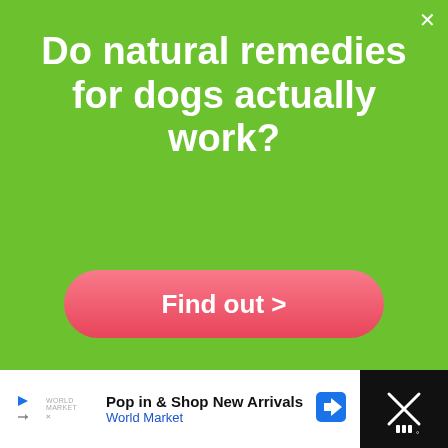Do natural remedies for dogs actually work?
Find out >
Vet's Best Enzymatic Dog Toothpaste
28
Pop in & Shop New Arrivals World Market